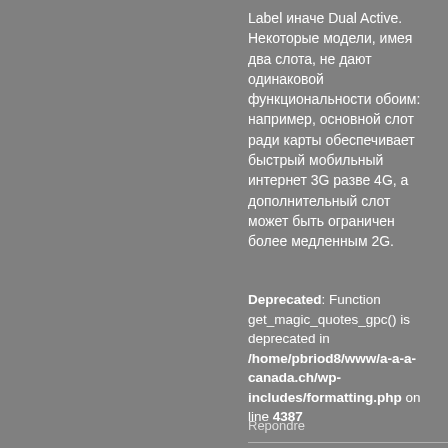Label иначе Dual Active. Некоторые модели, имея два слота, не дают одинаковой функциональности обоим: например, основной слот ради карты обеспечивает быстрый мобильный интернет 3G разве 4G, а дополнительный слот может быть ограничен более медленным 2G.
Deprecated: Function get_magic_quotes_gpc() is deprecated in /home/pbriod8/www/a-a-a-canada.ch/wp-includes/formatting.php on line 4387
Repondre
[Figure (illustration): User avatar placeholder icon - grey circle with person silhouette]
Deprecated: Function get_magic_quotes_gpc() is deprecated in /home/pbriod8/www/a-a-a-